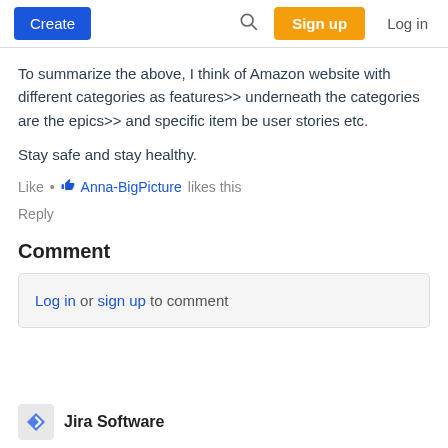Create | Search | Sign up | Log in
To summarize the above, I think of Amazon website with different categories as features>> underneath the categories are the epics>> and specific item be user stories etc.
Stay safe and stay healthy.
Like • Anna-BigPicture likes this
Reply
Comment
Log in or sign up to comment
Jira Software